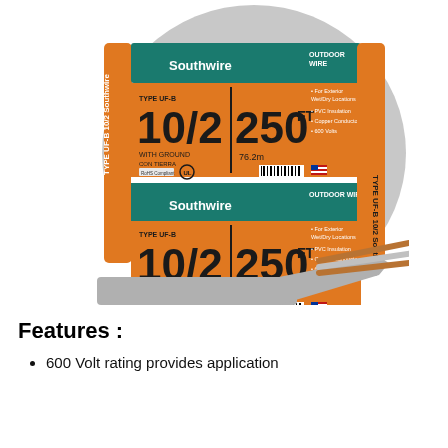[Figure (photo): Southwire Type UF-B 10/2 WITH GROUND 250 FT (76.2m) outdoor wire cable spool, gray, with copper conductors visible at the end of the flat cable. The spool label shows orange and teal design with Southwire branding, OUTDOOR WIRE text, and bullet points listing features: For Exterior Wet/Dry Locations, PVC Insulation, Copper Conductors, 600 Volts.]
Features :
600 Volt rating provides application